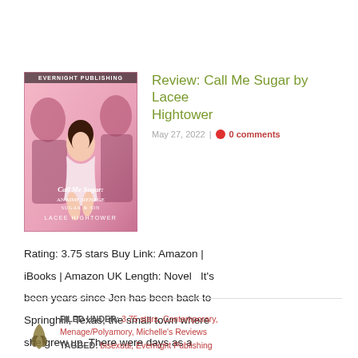[Figure (illustration): Book cover for 'Call Me Sugar: An MMF Menage, Sugar & Sin' by Lacee Hightower, published by Evernight Publishing. Shows a woman in a pink dress posing seductively against a pink background with male figures behind her.]
Review: Call Me Sugar by Lacee Hightower
May 27, 2022 | 0 comments
Rating: 3.75 stars Buy Link: Amazon | iBooks | Amazon UK Length: Novel   It's been years since Jen has been back to Springhill, Texas, the small town where she grew up. There were days as a teenager that she couldn't wait to get out and she now has a...
FILED UNDER: 3.75 stars, Contemporary, Menage/Polyamory, Michelle's Reviews
TAGGED: bisexual, Evernight Publishing